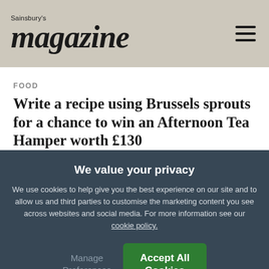Sainsbury's magazine
FOOD
Write a recipe using Brussels sprouts for a chance to win an Afternoon Tea Hamper worth £130
We value your privacy
We use cookies to help give you the best experience on our site and to allow us and third parties to customise the marketing content you see across websites and social media. For more information see our cookie policy.
Manage Preferences
Accept All Cookies